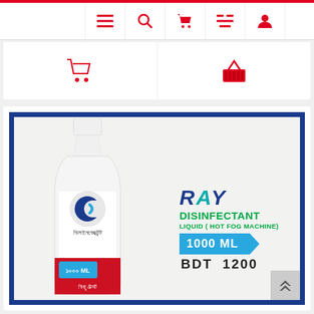[Figure (screenshot): E-commerce app screenshot showing navigation bar with hamburger menu, search, cart, list, and user icons in red on white background]
[Figure (screenshot): Shopping cart and basket icons in red on white panel]
[Figure (photo): Product listing card with blue border showing Ray Disinfectant Liquid bottle (1000 ML, BDT 1200) for Hot Fog Machine. White bottle with red and blue label, RAY brand logo, pricing and size info on right side.]